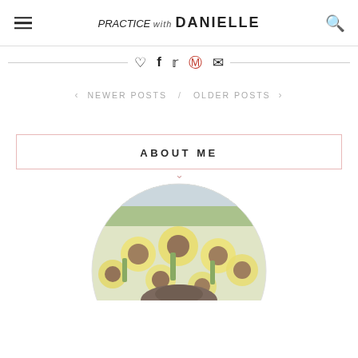PRACTICE with DANIELLE
♡ f 𝕥 𝕡 ✉ (social share icons)
< NEWER POSTS / OLDER POSTS >
ABOUT ME
[Figure (photo): Circular profile photo of a person in a sunflower field, viewed from above showing top of head and hat amid yellow sunflowers]